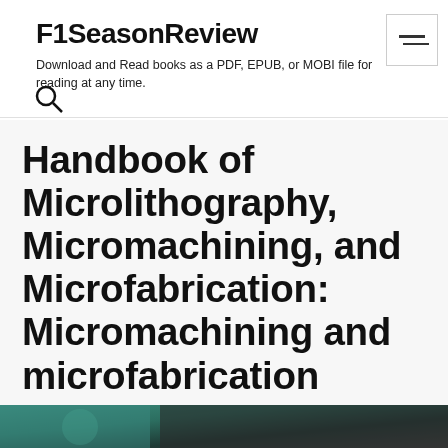F1SeasonReview
Download and Read books as a PDF, EPUB, or MOBI file for reading at any time.
Handbook of Microlithography, Micromachining, and Microfabrication: Micromachining and microfabrication
[Figure (photo): Partial view of a book cover with teal/dark background, visible at bottom of page]